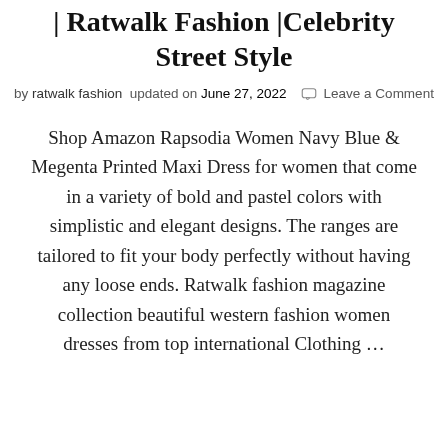| Ratwalk Fashion |Celebrity Street Style
by ratwalk fashion updated on June 27, 2022  Leave a Comment
Shop Amazon Rapsodia Women Navy Blue & Megenta Printed Maxi Dress for women that come in a variety of bold and pastel colors with simplistic and elegant designs. The ranges are tailored to fit your body perfectly without having any loose ends. Ratwalk fashion magazine collection beautiful western fashion women dresses from top international Clothing ...